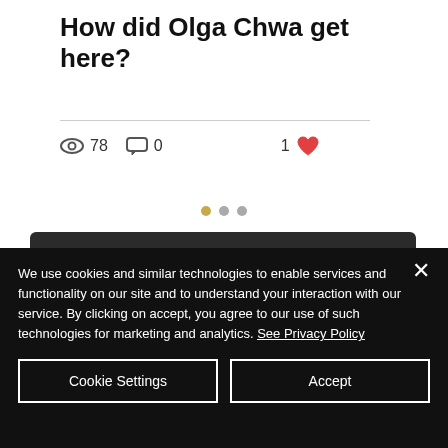How did Olga Chwa get here?
78  0  1
[Figure (screenshot): Dark UI with Connect button and Search bar]
We use cookies and similar technologies to enable services and functionality on our site and to understand your interaction with our service. By clicking on accept, you agree to our use of such technologies for marketing and analytics. See Privacy Policy
Cookie Settings   Accept